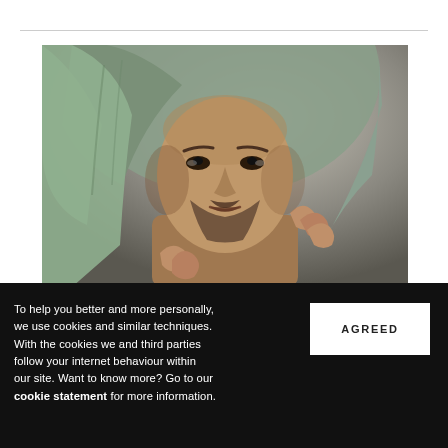[Figure (photo): A man in a sage/olive green hoodie pulling the hood around his face, looking intensely at the camera. Close-up portrait, studio photo.]
To help you better and more personally, we use cookies and similar techniques. With the cookies we and third parties follow your internet behaviour within our site. Want to know more? Go to our cookie statement for more information.
AGREED